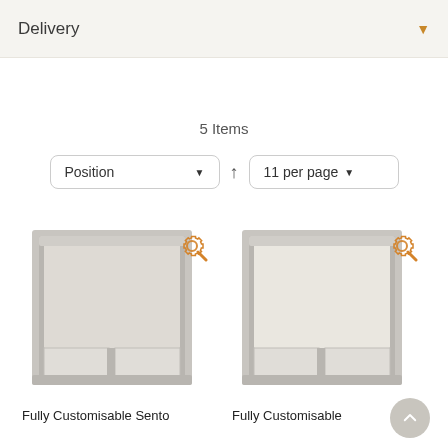Delivery
5 Items
Position ▼ ↑ 11 per page ▼
[Figure (screenshot): Product image of a roller blind (Fully Customisable Sento) in a window frame with a gear/wrench customise icon overlay]
Fully Customisable Sento
[Figure (screenshot): Product image of a roller blind (Fully Customisable) in a window frame with a gear/wrench customise icon overlay]
Fully Customisable